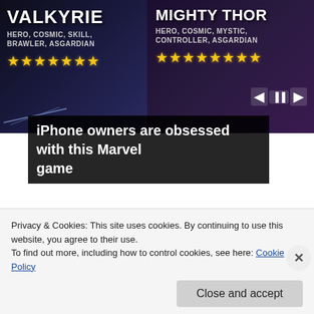[Figure (screenshot): Advertisement banner showing Marvel game with two heroes: Valkyrie (Hero, Cosmic, Skill, Brawler, Asgardian) and Mighty Thor (Hero, Cosmic, Mystic, Controller, Asgardian), both with 5-star ratings]
iPhone owners are obsessed with this Marvel game
[Figure (photo): Left: Illustration of Quaker Oats mascot character with white wig and dark blue cowboy hat. Right: Photo of a man with sunglasses and earring.]
Privacy & Cookies: This site uses cookies. By continuing to use this website, you agree to their use.
To find out more, including how to control cookies, see here: Cookie Policy
Close and accept